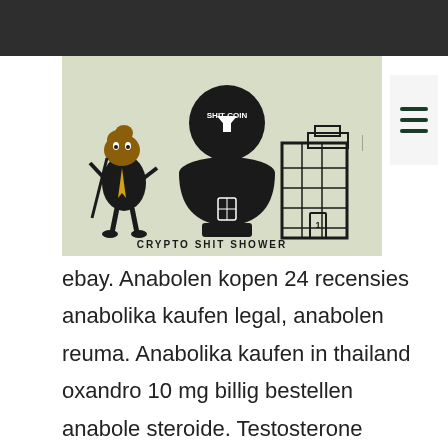[Figure (illustration): Crypto Shit Shower logo illustration with cartoon poop character in suit, toilet with 'Shit Coin' label, and building illustration. Text overlay reads 'CRYPTO SHIT SHOWER'.]
Vad är anabola steroider clenbuterol 20mg, anabola steroider möjliga biverkningar legal kaufen anabolika kaufen bei ebay.
Anabolen kopen 24 recensies anabolika kaufen legal, anabolen reuma. Anabolika kaufen in thailand oxandro 10 mg billig bestellen anabole steroide. Testosterone enanthate is an